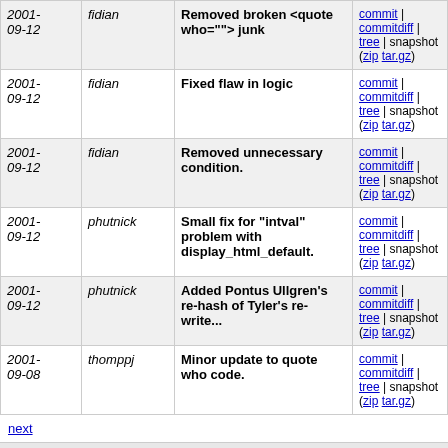| Date | Author | Message | Links |
| --- | --- | --- | --- |
| 2001-09-12 | fidian | Removed broken <quote who=""> junk | commit | commitdiff | tree | snapshot (zip tar.gz) |
| 2001-09-12 | fidian | Fixed flaw in logic | commit | commitdiff | tree | snapshot (zip tar.gz) |
| 2001-09-12 | fidian | Removed unnecessary condition. | commit | commitdiff | tree | snapshot (zip tar.gz) |
| 2001-09-12 | phutnick | Small fix for "intval" problem with display_html_default. | commit | commitdiff | tree | snapshot (zip tar.gz) |
| 2001-09-12 | phutnick | Added Pontus Ullgren's re-hash of Tyler's re-write... | commit | commitdiff | tree | snapshot (zip tar.gz) |
| 2001-09-08 | thomppj | Minor update to quote who code. | commit | commitdiff | tree | snapshot (zip tar.gz) |
next
Unnamed repository; edit this file 'description' to name the repository.